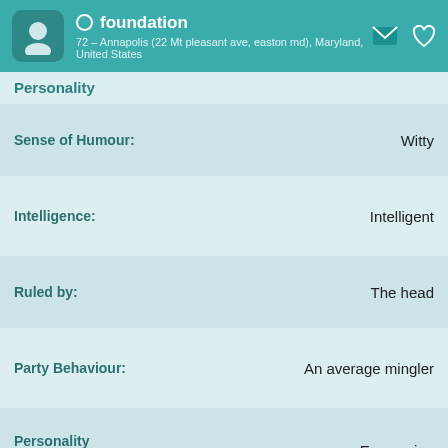foundation — 72 – Annapolis (22 Mt pleasant ave, easton md), Maryland, United States
Personality
| Attribute | Value |
| --- | --- |
| Sense of Humour: | Witty |
| Intelligence: | Intelligent |
| Ruled by: | The head |
| Party Behaviour: | An average mingler |
| Personality Traits: | Easy going |
| Valued Qualities: | Charity; Compassion; Faithfulness; Honesty; Humour; Kindness |
| Fashion Sense: | Alternative (I'm stylish in my own special way) |